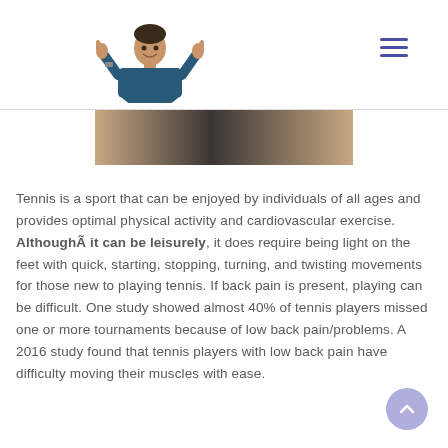[Figure (photo): Person in dark blue scrubs giving two thumbs up, serving as a logo/header image for a medical or health website]
[Figure (photo): Partial hero image strip showing a wooden/tan and dark background, likely a tennis or sports related banner image]
Tennis is a sport that can be enjoyed by individuals of all ages and provides optimal physical activity and cardiovascular exercise. AlthoughÃ it can be leisurely, it does require being light on the feet with quick, starting, stopping, turning, and twisting movements for those new to playing tennis. If back pain is present, playing can be difficult. One study showed almost 40% of tennis players missed one or more tournaments because of low back pain/problems. A 2016 study found that tennis players with low back pain have difficulty moving their muscles with ease.